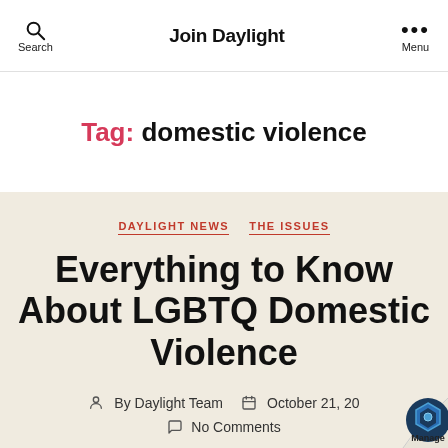Join Daylight
Tag: domestic violence
DAYLIGHT NEWS  THE ISSUES
Everything to Know About LGBTQ Domestic Violence
By Daylight Team   October 21, 20
No Comments